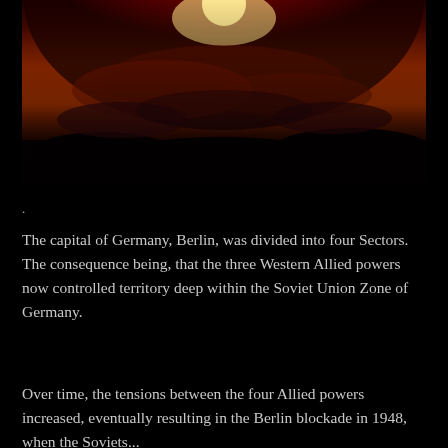[Figure (photo): A dramatic sunset or nuclear explosion mushroom cloud silhouette against a deep red and orange sky with dark clouds and dark foreground landscape]
.
The capital of Germany, Berlin, was divided into four Sectors. The consequence being, that the three Western Allied powers now controlled territory deep within the Soviet Union Zone of Germany.
Over time, the tensions between the four Allied powers increased, eventually resulting in the Berlin blockade in 1948, when the Soviets...